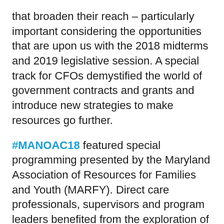that broaden their reach – particularly important considering the opportunities that are upon us with the 2018 midterms and 2019 legislative session. A special track for CFOs demystified the world of government contracts and grants and introduce new strategies to make resources go further.
#MANOAC18 featured special programming presented by the Maryland Association of Resources for Families and Youth (MARFY). Direct care professionals, supervisors and program leaders benefited from the exploration of trauma-informed care, building relationships with families, retaining a strong workforce, and being inclusive in service delivery.